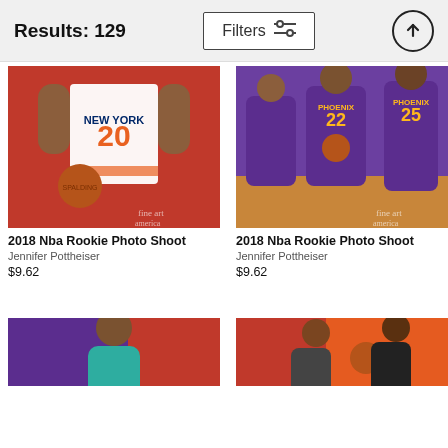Results: 129  Filters
[Figure (photo): NBA Knicks player #20 in white uniform holding a Spalding basketball, red background]
2018 Nba Rookie Photo Shoot
Jennifer Pottheiser
$9.62
[Figure (photo): Three Phoenix Suns players in purple uniforms #22 and #25, on a basketball court with red/purple background]
2018 Nba Rookie Photo Shoot
Jennifer Pottheiser
$9.62
[Figure (photo): Partial view of basketball player in teal/orange uniform, purple/red background]
[Figure (photo): Partial view of basketball players with basketball, red/orange background]